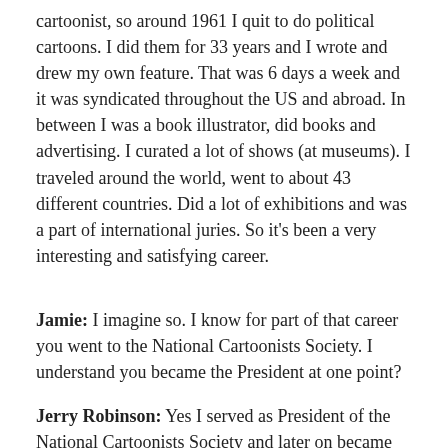cartoonist, so around 1961 I quit to do political cartoons. I did them for 33 years and I wrote and drew my own feature. That was 6 days a week and it was syndicated throughout the US and abroad. In between I was a book illustrator, did books and advertising. I curated a lot of shows (at museums). I traveled around the world, went to about 43 different countries. Did a lot of exhibitions and was a part of international juries. So it's been a very interesting and satisfying career.
Jamie: I imagine so. I know for part of that career you went to the National Cartoonists Society. I understand you became the President at one point?
Jerry Robinson: Yes I served as President of the National Cartoonists Society and later on became an editorial cartoonist and served as President of the Association of American Editorial Cartoonists. A lot of Canadians belong to